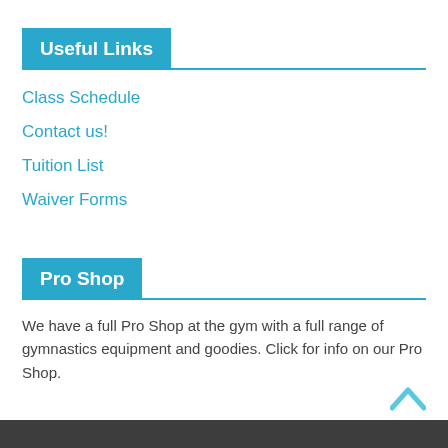Useful Links
Class Schedule
Contact us!
Tuition List
Waiver Forms
Pro Shop
We have a full Pro Shop at the gym with a full range of gymnastics equipment and goodies. Click for info on our Pro Shop.